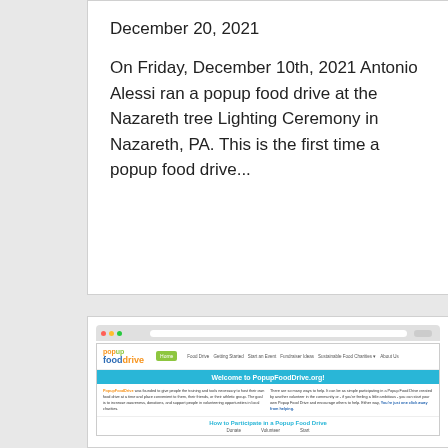December 20, 2021
On Friday, December 10th, 2021 Antonio Alessi ran a popup food drive at the Nazareth tree Lighting Ceremony in Nazareth, PA. This is the first time a popup food drive...
[Figure (screenshot): Screenshot of PopupFoodDrive.org website showing the site logo, navigation bar, a blue 'Welcome to PopupFoodDrive.org!' banner with descriptive text, and a 'How to Participate in a Popup Food Drive' section with Donate, Volunteer, Start columns.]